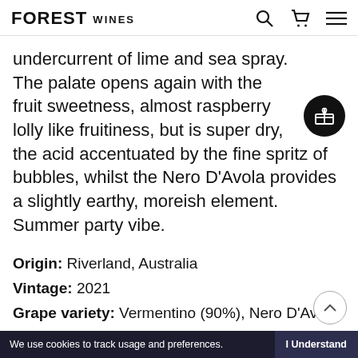FOREST WINES
undercurrent of lime and sea spray. The palate opens again with the fruit sweetness, almost raspberry lolly like fruitiness, but is super dry, the acid accentuated by the fine spritz of bubbles, whilst the Nero D'Avola provides a slightly earthy, moreish element. Summer party vibe.
Origin: Riverland, Australia
Vintage: 2021
Grape variety: Vermentino (90%), Nero D'Avola (10%)
We use cookies to track usage and preferences. I Understand